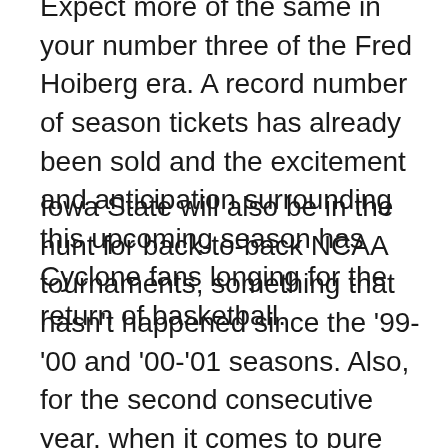Expect more of the same in year three of the Fred Hoiberg era. A record number of season tickets has already been sold and the excitement and anticipation surrounding this upcoming season has Cyclone fans longing for the return of basketball.
Iowa State will also be in the hunt for back-to-back NCAA tournaments, something that hasn't happened since the '99-'00 and '00-'01 seasons. Also, for the second consecutive year, when it comes to pure college basketball experience, Iowa State will again be featuring one of the most experienced rosters in the conference. Seniors Babb, McGee, Booker, Clyburn and Lucious all began their collegiate careers elsewhere, but have joined forces in Ames and don't be surprised to see all five on the floor together at times. They'll be joined by junior Melvin Ejim, who will be entering into his third year as a starter and will also